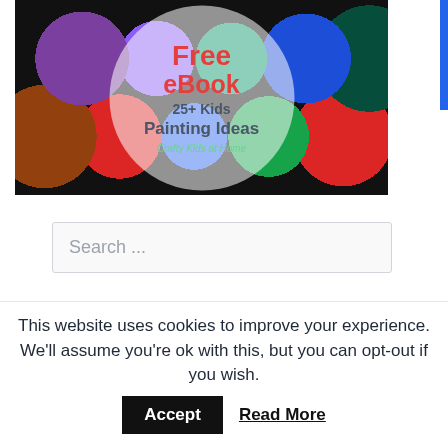[Figure (illustration): Promotional image for a free eBook '25+ Kids Painting Ideas' by Crafty Kids at Home. Shows colorful paint pots in the background with a translucent white circle overlay containing red text 'Free eBook', blue text '25+ Kids Painting Ideas', and green italic text 'Crafty Kids at Home'.]
Search ...
Popular Posts
This website uses cookies to improve your experience. We'll assume you're ok with this, but you can opt-out if you wish.
Accept
Read More